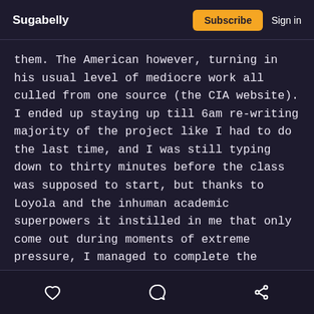Sugabelly | Subscribe | Sign in
them. The American however, turning in his usual level of mediocre work all culled from one source (the CIA website). I ended up staying up till 6am re-writing majority of the project like I had to do the last time, and I was still typing down to thirty minutes before the class was supposed to start, but thanks to Loyola and the inhuman academic superpowers it instilled in me that only come out during moments of extreme pressure, I managed to complete the project, print and staple and run to
like | comment | share